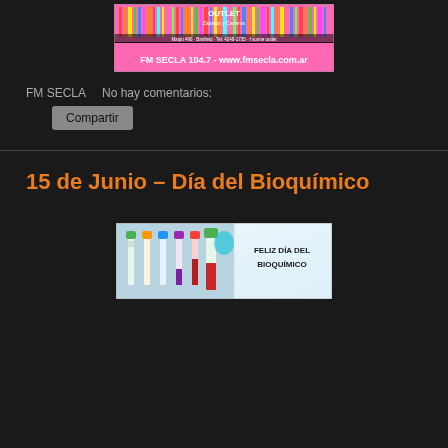[Figure (photo): FM SECLA 104.7 advertisement banner with colorful barcode-like stripes, shoe/bag outlet info, and radio station website]
FM SECLA    No hay comentarios:
Compartir
15 de Junio – Día del Bioquímico
[Figure (photo): Banner image with laboratory blood sample tubes on the left and text 'FELIZ DÍA DEL BIOQUÍMICO' on the right]